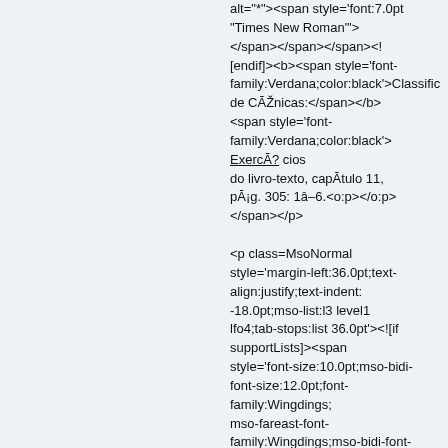alt="*"><span style='font:7.0pt "Times New Roman"'> </span></span></span><![endif]><b><span style='font-family:Verdana;color:black'>Classificações de CÃŽnicas:</span></b><span style='font-family:Verdana;color:black'>ExercÃ¿cios do livro-texto, capÃtulo 11, pÃ¡g. 305: 1â–6.<o:p></o:p></span></p>

<p class=MsoNormal style='margin-left:36.0pt;text-align:justify;text-indent:-18.0pt;mso-list:l3 level1 lfo4;tab-stops:list 36.0pt'><!--[if supportLists]><span style='font-size:10.0pt;mso-bidi-font-size:12.0pt;font-family:Wingdings;mso-fareast-font-family:Wingdings;mso-bidi-font-